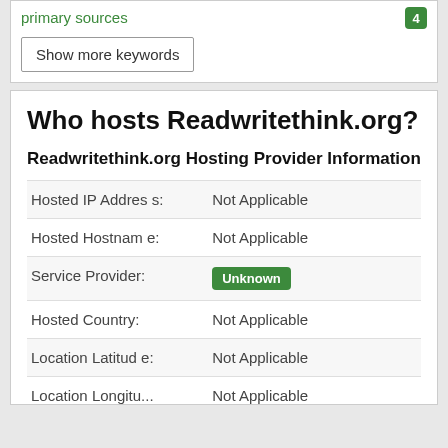primary sources
4
Show more keywords
Who hosts Readwritethink.org?
Readwritethink.org Hosting Provider Information
|  |  |
| --- | --- |
| Hosted IP Address: | Not Applicable |
| Hosted Hostname: | Not Applicable |
| Service Provider: | Unknown |
| Hosted Country: | Not Applicable |
| Location Latitude: | Not Applicable |
| Location Longitu... | Not Applicable |